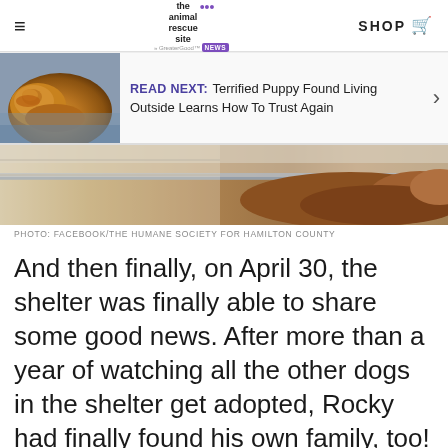the animal rescue site · SHOP
[Figure (photo): Golden/brown dog sleeping on a blue surface, used as thumbnail for Read Next article]
READ NEXT: Terrified Puppy Found Living Outside Learns How To Trust Again
[Figure (photo): Partial view of a brown dog in a shelter kennel with metal bars visible]
PHOTO: FACEBOOK/THE HUMANE SOCIETY FOR HAMILTON COUNTY
And then finally, on April 30, the shelter was finally able to share some good news. After more than a year of watching all the other dogs in the shelter get adopted, Rocky had finally found his own family, too!